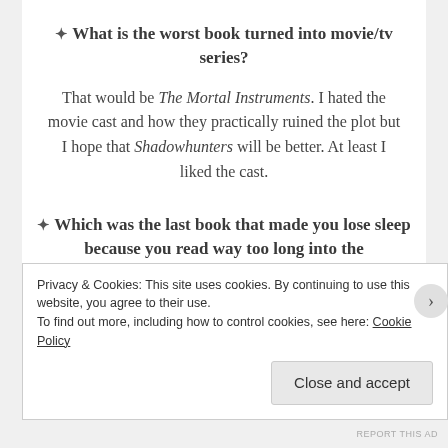✦ What is the worst book turned into movie/tv series?
That would be The Mortal Instruments. I hated the movie cast and how they practically ruined the plot but I hope that Shadowhunters will be better. At least I liked the cast.
✦ Which was the last book that made you lose sleep because you read way too long into the
Privacy & Cookies: This site uses cookies. By continuing to use this website, you agree to their use. To find out more, including how to control cookies, see here: Cookie Policy